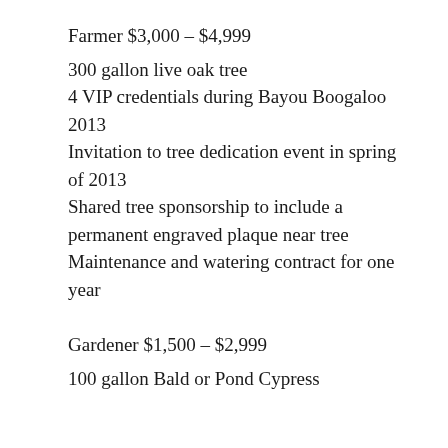Farmer $3,000 – $4,999
300 gallon live oak tree
4 VIP credentials during Bayou Boogaloo 2013
Invitation to tree dedication event in spring of 2013
Shared tree sponsorship to include a permanent engraved plaque near tree
Maintenance and watering contract for one year
Gardener $1,500 – $2,999
100 gallon Bald or Pond Cypress